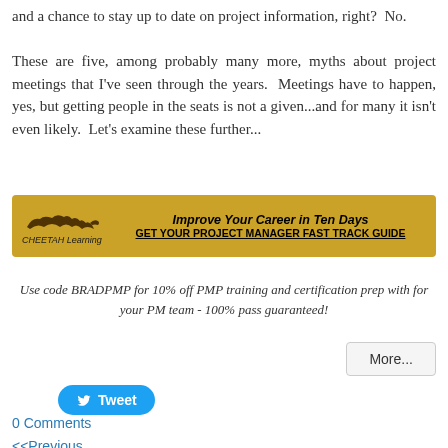and a chance to stay up to date on project information, right?  No.
These are five, among probably many more, myths about project meetings that I've seen through the years.  Meetings have to happen, yes, but getting people in the seats is not a given...and for many it isn't even likely.  Let's examine these further...
[Figure (infographic): Cheetah Learning advertisement banner with gold background. Shows Cheetah Learning logo on left with stylized cheetah illustration. Text reads: 'Improve Your Career in Ten Days' (italic bold) and 'GET YOUR PROJECT MANAGER FAST TRACK GUIDE' (bold underlined).]
Use code BRADPMP for 10% off PMP training and certification prep with for your PM team - 100% pass guaranteed!
More...
Tweet
0 Comments
<<Previous